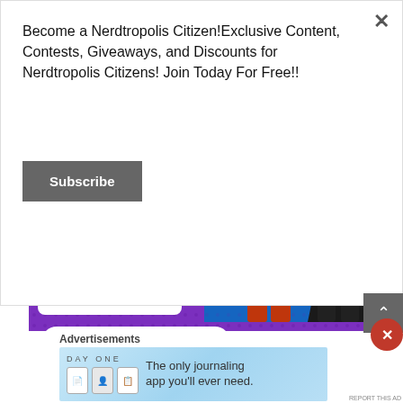Become a Nerdtropolis Citizen!Exclusive Content, Contests, Giveaways, and Discounts for Nerdtropolis Citizens! Join Today For Free!!
Subscribe
[Figure (illustration): Purple banner for Bedrock City Comic Company showing 'WEDNESDAYS 7:00-9:00 PM', a browser window mockup with Bedrock City Comic Company logo, and comic book superhero characters on blue background. A search pill at the bottom reads 'Bedrock City Comic Co.' with a blue checkmark.]
Advertisements
[Figure (illustration): Day One journaling app advertisement with light blue gradient background. Shows 'DAY ONE' text, three app icons, and the text 'The only journaling app you'll ever need.']